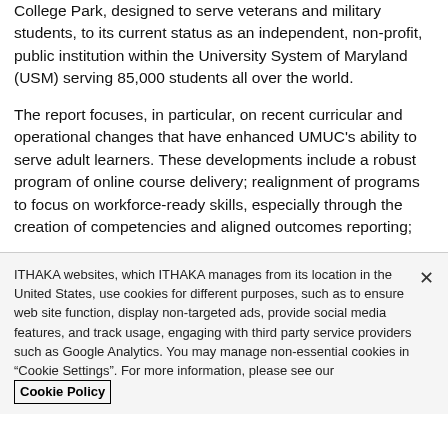College Park, designed to serve veterans and military students, to its current status as an independent, non-profit, public institution within the University System of Maryland (USM) serving 85,000 students all over the world.
The report focuses, in particular, on recent curricular and operational changes that have enhanced UMUC's ability to serve adult learners. These developments include a robust program of online course delivery; realignment of programs to focus on workforce-ready skills, especially through the creation of competencies and aligned outcomes reporting;
ITHAKA websites, which ITHAKA manages from its location in the United States, use cookies for different purposes, such as to ensure web site function, display non-targeted ads, provide social media features, and track usage, engaging with third party service providers such as Google Analytics. You may manage non-essential cookies in “Cookie Settings”. For more information, please see our Cookie Policy